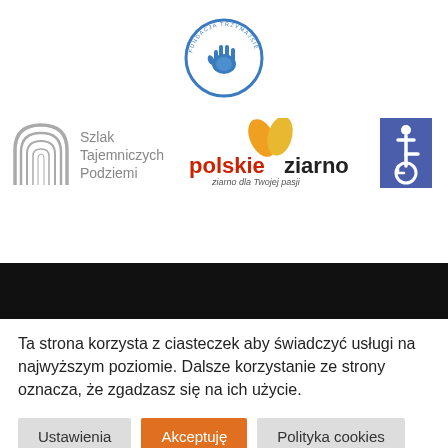[Figure (logo): Circular blue and white logo with a hand symbol, text around the circle edge]
[Figure (logo): Szlak Tajemniczych Podziemi logo - grey arch icon with grey text]
[Figure (logo): Polskie Ziarno logo - orange/yellow leaves with red and black text, tagline 'ziarno dla Twojej pasji']
[Figure (logo): Blue square with white wheelchair accessibility icon]
Ta strona korzysta z ciasteczek aby świadczyć usługi na najwyższym poziomie. Dalsze korzystanie ze strony oznacza, że zgadzasz się na ich użycie.
Ustawienia | Akceptuję | Polityka cookies